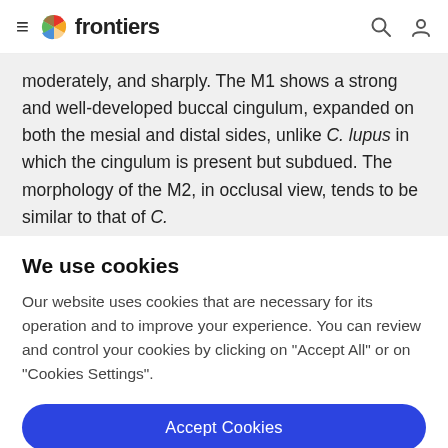frontiers
moderately, and sharply. The M1 shows a strong and well-developed buccal cingulum, expanded on both the mesial and distal sides, unlike C. lupus in which the cingulum is present but subdued. The morphology of the M2, in occlusal view, tends to be similar to that of C.
We use cookies
Our website uses cookies that are necessary for its operation and to improve your experience. You can review and control your cookies by clicking on "Accept All" or on "Cookies Settings".
Accept Cookies
Cookies Settings